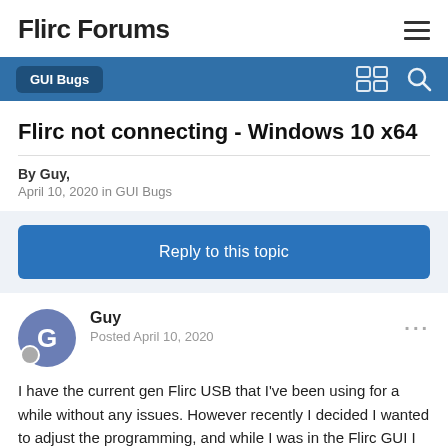Flirc Forums
GUI Bugs
Flirc not connecting - Windows 10 x64
By Guy,
April 10, 2020 in GUI Bugs
Reply to this topic
Guy
Posted April 10, 2020
I have the current gen Flirc USB that I've been using for a while without any issues. However recently I decided I wanted to adjust the programming, and while I was in the Flirc GUI I decided to do